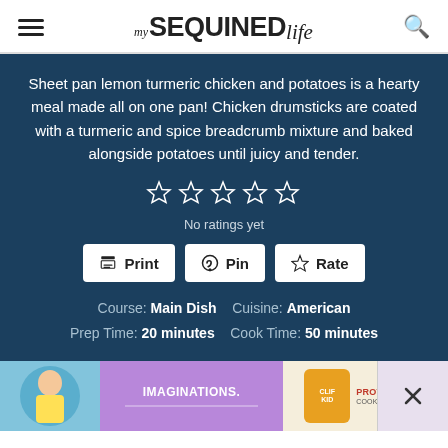my SEQUINED life
Sheet pan lemon turmeric chicken and potatoes is a hearty meal made all on one pan! Chicken drumsticks are coated with a turmeric and spice breadcrumb mixture and baked alongside potatoes until juicy and tender.
[Figure (other): 5 empty star rating icons]
No ratings yet
Print | Pin | Rate
Course: Main Dish   Cuisine: American   Prep Time: 20 minutes   Cook Time: 50 minutes
[Figure (photo): Advertisement banner with child, purple background text IMAGINATIONS., Clif Bar protein bar product image, and close buttons]